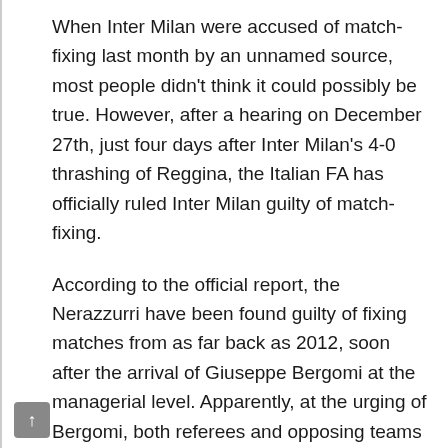When Inter Milan were accused of match-fixing last month by an unnamed source, most people didn't think it could possibly be true. However, after a hearing on December 27th, just four days after Inter Milan's 4-0 thrashing of Reggina, the Italian FA has officially ruled Inter Milan guilty of match-fixing.
According to the official report, the Nerazzurri have been found guilty of fixing matches from as far back as 2012, soon after the arrival of Giuseppe Bergomi at the managerial level. Apparently, at the urging of Bergomi, both referees and opposing teams were bribed into allowing Inter Milan to win matches. This scandal has rocked Italian football even harder than the calciopoli scandal involving multiple Serie A clubs back in the mid-2000's.